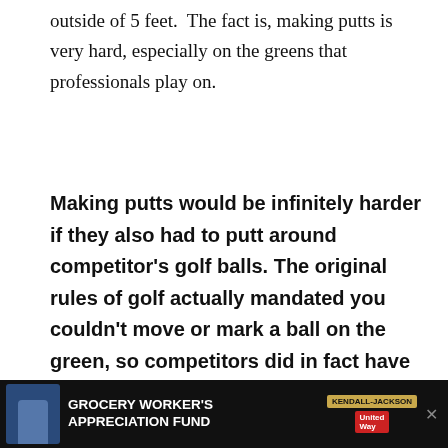outside of 5 feet.  The fact is, making putts is very hard, especially on the greens that professionals play on.
Making putts would be infinitely harder if they also had to putt around competitor's golf balls. The original rules of golf actually mandated you couldn't move or mark a ball on the green, so competitors did in fact have to putt around other golf balls.
[Figure (other): Advertisement banner: 'ADVANCE EQUITY IN YOUR COMMUNITY' in bold blue text on light blue background, with a small close (X) button]
[Figure (other): Bottom advertisement bar: 'GROCERY WORKER'S APPRECIATION FUND' with Kendall Jackson and United Way logos on dark background, with a person image on the left]